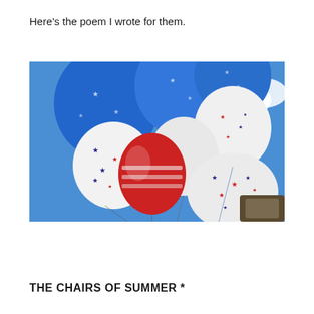Here’s the poem I wrote for them.
[Figure (photo): A low-angle photograph of red, white, and blue star-decorated balloons and an American flag balloon cluster against a blue sky with white clouds.]
THE CHAIRS OF SUMMER *